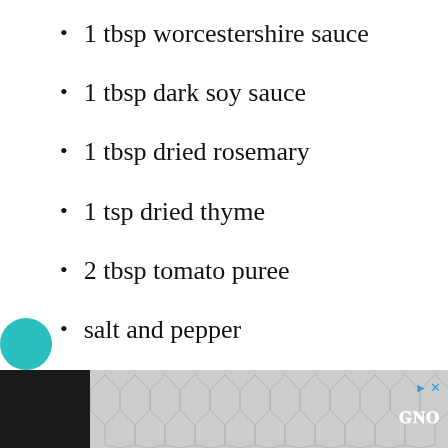1 tbsp worcestershire sauce
1 tbsp dark soy sauce
1 tbsp dried rosemary
1 tsp dried thyme
2 tbsp tomato puree
salt and pepper